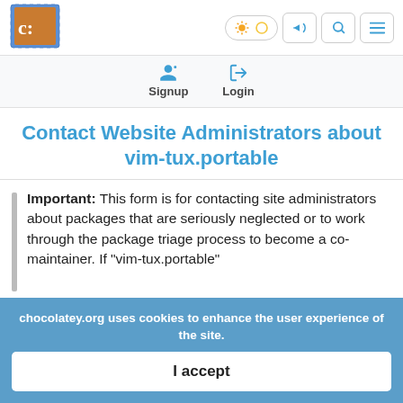[Figure (logo): Chocolatey logo - brown package with C: text]
[Figure (screenshot): Navigation bar with theme toggle (sun icons), announcement icon, search icon, and hamburger menu icon]
[Figure (screenshot): Auth bar with Signup (person-add icon) and Login (arrow-right icon) options]
Contact Website Administrators about vim-tux.portable
Important: This form is for contacting site administrators about packages that are seriously neglected or to work through the package triage process to become a co-maintainer. If "vim-tux.portable"
chocolatey.org uses cookies to enhance the user experience of the site.
I accept